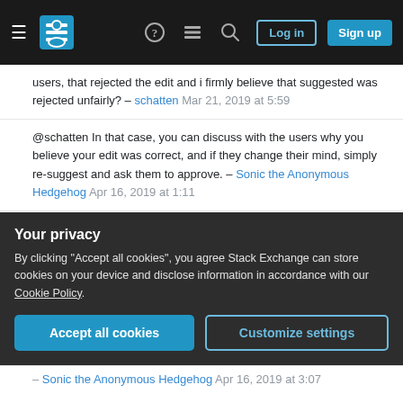Stack Exchange navigation bar with hamburger menu, logo, help, chat, search icons, Log in and Sign up buttons
users, that rejected the edit and i firmly believe that suggested was rejected unfairly? – schatten Mar 21, 2019 at 5:59
@schatten In that case, you can discuss with the users why you believe your edit was correct, and if they change their mind, simply re-suggest and ask them to approve. – Sonic the Anonymous Hedgehog Apr 16, 2019 at 1:11
@SonictheWizardWerehog There is not way for me to discuss as the user is not responsive. – schatten Apr 16, 2019 at 3:00
Your privacy
By clicking "Accept all cookies", you agree Stack Exchange can store cookies on your device and disclose information in accordance with our Cookie Policy.
Accept all cookies
Customize settings
– Sonic the Anonymous Hedgehog Apr 16, 2019 at 3:07